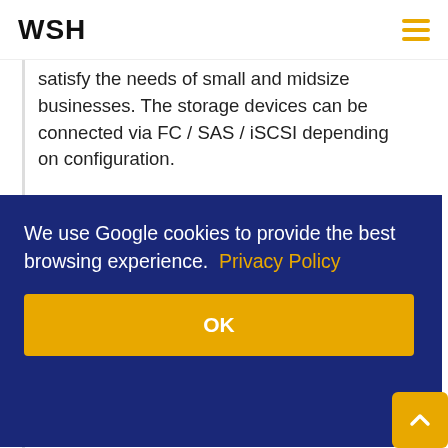WSH
satisfy the needs of small and midsize businesses. The storage devices can be connected via FC / SAS / iSCSI depending on configuration.
With flexible configurations of the HPE MSA 1050, MSA 2050 and MSA 2052 storage models, all users will be able to find the right storage solution for their needs. These entry-level storage
We use Google cookies to provide the best browsing experience. Privacy Policy
OK
capacity of as much as approx. 4